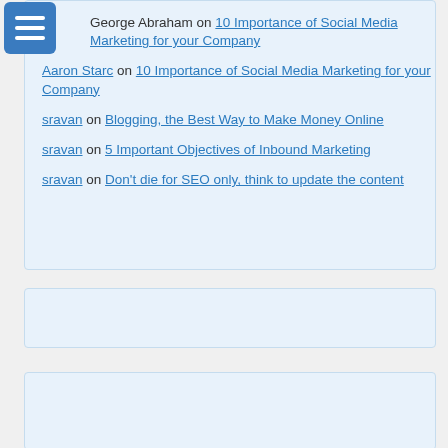George Abraham on 10 Importance of Social Media Marketing for your Company
Aaron Starc on 10 Importance of Social Media Marketing for your Company
sravan on Blogging, the Best Way to Make Money Online
sravan on 5 Important Objectives of Inbound Marketing
sravan on Don't die for SEO only, think to update the content
[Figure (other): Empty light blue card/widget area]
[Figure (logo): Circular dark blue logo with letters, partially visible at bottom]